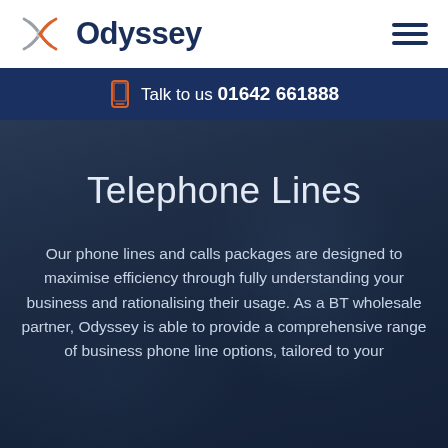[Figure (logo): Odyssey company logo with orange and grey concentric arc icon on the left and dark navy 'Odyssey' text on the right]
[Figure (other): Hamburger menu icon — three horizontal dark navy lines stacked]
Talk to us 01642 661888
Telephone Lines
Our phone lines and calls packages are designed to maximise efficiency through fully understanding your business and rationalising their usage. As a BT wholesale partner, Odyssey is able to provide a comprehensive range of business phone line options, tailored to your